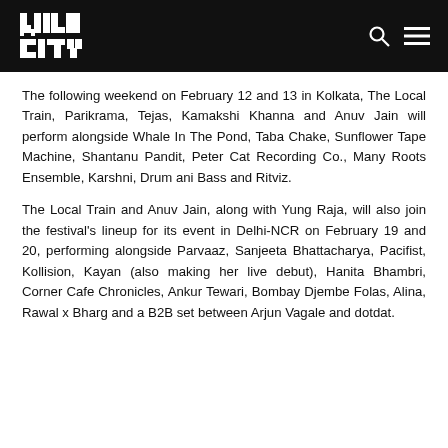Wild City logo header with search and menu icons
The following weekend on February 12 and 13 in Kolkata, The Local Train, Parikrama, Tejas, Kamakshi Khanna and Anuv Jain will perform alongside Whale In The Pond, Taba Chake, Sunflower Tape Machine, Shantanu Pandit, Peter Cat Recording Co., Many Roots Ensemble, Karshni, Drum ani Bass and Ritviz.
The Local Train and Anuv Jain, along with Yung Raja, will also join the festival's lineup for its event in Delhi-NCR on February 19 and 20, performing alongside Parvaaz, Sanjeeta Bhattacharya, Pacifist, Kollision, Kayan (also making her live debut), Hanita Bhambri, Corner Cafe Chronicles, Ankur Tewari, Bombay Djembe Folas, Alina, Rawal x Bharg and a B2B set between Arjun Vagale and dotdat.